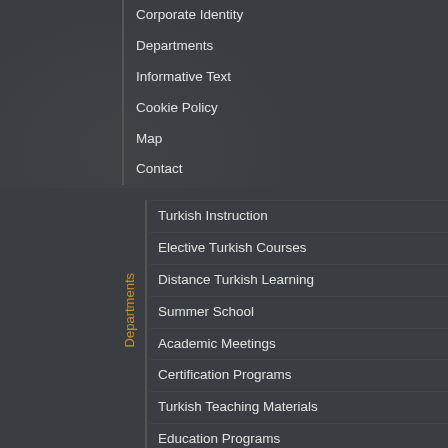Corporate Identity
Departments
Informative Text
Cookie Policy
Map
Contact
Departments
Turkish Instruction
Elective Turkish Courses
Distance Turkish Learning
Summer School
Academic Meetings
Certification Programs
Turkish Teaching Materials
Education Programs
Materials
Tests